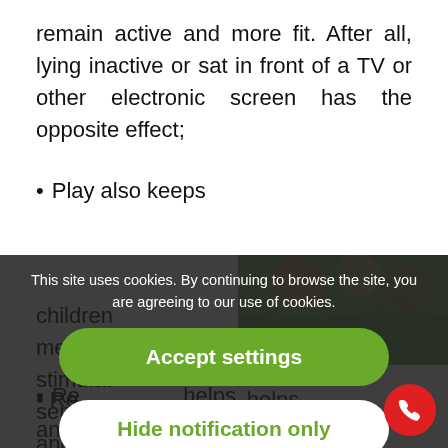remain active and more fit. After all, lying inactive or sat in front of a TV or other electronic screen has the opposite effect;
Play also keeps children mentally fit, stimulating the senses and sense of adventure;
Regular play helps children to identify their own talents and interests;
[Figure (screenshot): Cookie consent overlay on a webpage showing a photo of children/family, with 'Accept settings' (green button) and 'Hide notification only' (white button) options, plus a red phone button in the bottom right.]